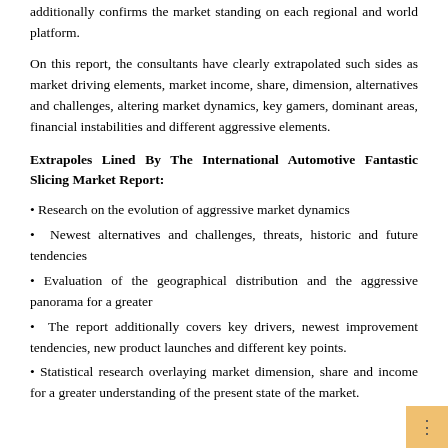additionally confirms the market standing on each regional and world platform.
On this report, the consultants have clearly extrapolated such sides as market driving elements, market income, share, dimension, alternatives and challenges, altering market dynamics, key gamers, dominant areas, financial instabilities and different aggressive elements.
Extrapoles Lined By The International Automotive Fantastic Slicing Market Report:
• Research on the evolution of aggressive market dynamics
• Newest alternatives and challenges, threats, historic and future tendencies
• Evaluation of the geographical distribution and the aggressive panorama for a greater
• The report additionally covers key drivers, newest improvement tendencies, new product launches and different key points.
• Statistical research overlaying market dimension, share and income for a greater understanding of the present state of the market.